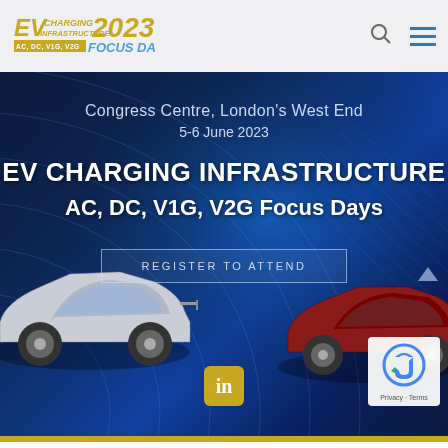[Figure (logo): EV Charging Infrastructure 2023 Focus Day logo in gold and blue]
Congress Centre, London's West End
5-6 June 2023
EV CHARGING INFRASTRUCTURE
AC, DC, V1G, V2G Focus Days
REGISTER TO ATTEND
[Figure (logo): LinkedIn icon badge in gold]
[Figure (other): reCAPTCHA badge with Privacy and Terms links]